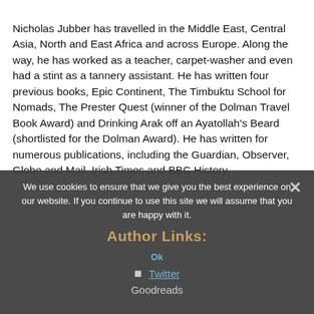Nicholas Jubber has travelled in the Middle East, Central Asia, North and East Africa and across Europe. Along the way, he has worked as a teacher, carpet-washer and even had a stint as a tannery assistant. He has written four previous books, Epic Continent, The Timbuktu School for Nomads, The Prester Quest (winner of the Dolman Travel Book Award) and Drinking Arak off an Ayatollah's Beard (shortlisted for the Dolman Award). He has written for numerous publications, including the Guardian, Observer, Globe and Mail, Irish Times and BBC History.
We use cookies to ensure that we give you the best experience on our website. If you continue to use this site we will assume that you are happy with it.
Author Links:
Twitter